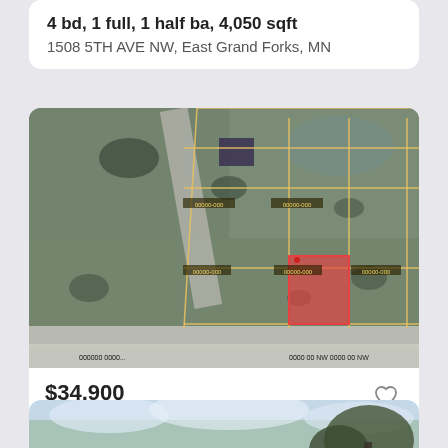4 bd, 1 full, 1 half ba, 4,050 sqft
1508 5TH AVE NW, East Grand Forks, MN
[Figure (map): Aerial parcel map showing property lots outlined in yellow/orange with one parcel highlighted in red, located at 1232 23RD Street NW, East Grand Forks, MN. Road visible on left side of image.]
$34,900
1232 23RD Street NW, EAST GRAND FORKS, MN
[Figure (photo): Partial photo of a property showing sky and trees at the bottom of the page, cut off.]